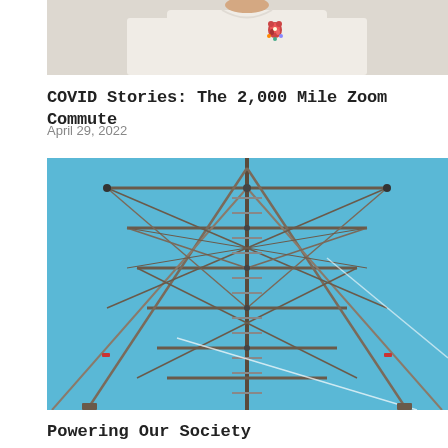[Figure (photo): Partial view of a person wearing a white t-shirt with a colorful bear graphic on the chest, visible from shoulders down]
COVID Stories: The 2,000 Mile Zoom Commute
April 29, 2022
[Figure (photo): Looking up from below at the interior structure of a metal electrical transmission tower against a blue sky, showing criss-crossing steel girders and lattice framework]
Powering Our Society
February 1, 2001